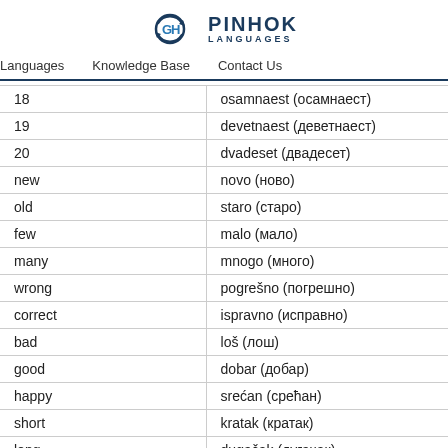[Figure (logo): Pinhok Languages logo with circular arrow icon and text PINHOK LANGUAGES]
Languages   Knowledge Base   Contact Us
| 18 | osamnaest (осамнаест) |
| 19 | devetnaest (деветнаест) |
| 20 | dvadeset (двадесет) |
| new | novo (ново) |
| old | staro (старо) |
| few | malo (мало) |
| many | mnogo (много) |
| wrong | pogrešno (погрешно) |
| correct | ispravno (исправно) |
| bad | loš (лош) |
| good | dobar (добар) |
| happy | srećan (срећан) |
| short | kratak (кратак) |
| long | dugačak (дугачак) |